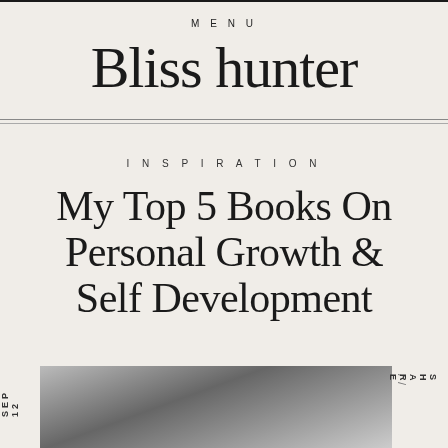MENU
Bliss hunter
INSPIRATION
My Top 5 Books On Personal Growth & Self Development
SEP 12
[Figure (photo): Black and white photo partially visible at bottom of page]
SHARE